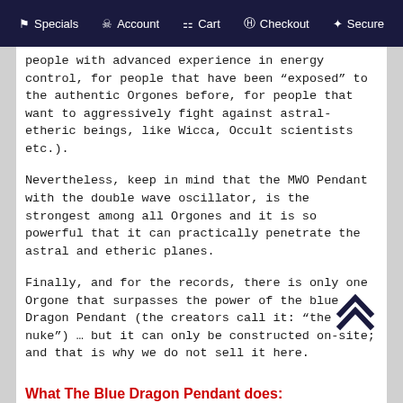Specials  Account  Cart  Checkout  Secure
people with advanced experience in energy control, for people that have been “exposed” to the authentic Orgones before, for people that want to aggressively fight against astral-etheric beings, like Wicca, Occult scientists etc.).
Nevertheless, keep in mind that the MWO Pendant with the double wave oscillator, is the strongest among all Orgones and it is so powerful that it can practically penetrate the astral and etheric planes.
Finally, and for the records, there is only one Orgone that surpasses the power of the blue Dragon Pendant (the creators call it: “the nuke”) … but it can only be constructed on-site; and that is why we do not sell it here.
What The Blue Dragon Pendant does: